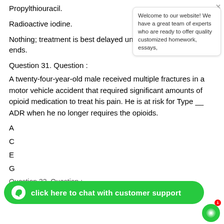Propylthiouracil.
Radioactive iodine.
Nothing; treatment is best delayed until after her pregnancy ends.
Question 31. Question :
A twenty-four-year-old male received multiple fractures in a motor vehicle accident that required significant amounts of opioid medication to treat his pain. He is at risk for Type __ ADR when he no longer requires the opioids.
A
C
E
G
Question 32. Question :
are prescribed for seasonal allergies because they:
[Figure (screenshot): Chat support widget with bubble saying 'Welcome to our website! We have a great team of experts who are ready to offer quality customized homework, essays,' and a green chat bar at the bottom saying 'click here to chat with customer support']